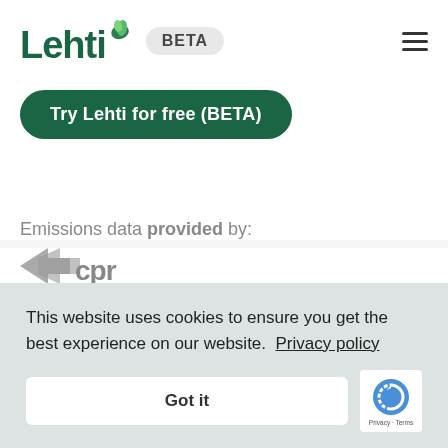[Figure (logo): Lehti logo with green leaf icon and BETA badge, plus hamburger menu icon]
Try Lehti for free (BETA)
Emissions data provided by:
[Figure (logo): CDR (Creating Sustainable Economies) logo, partially visible]
This website uses cookies to ensure you get the best experience on our website. Privacy policy
Got it